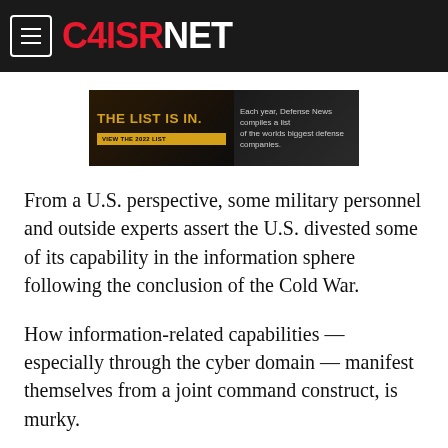C4ISRNET
[Figure (infographic): Advertisement banner: 'THE LIST IS IN. VIEW THE 2022 LIST' - Each year, Defense News compiles a list of the worlds biggest defense companies.]
From a U.S. perspective, some military personnel and outside experts assert the U.S. divested some of its capability in the information sphere following the conclusion of the Cold War.
How information-related capabilities — especially through the cyber domain — manifest themselves from a joint command construct, is murky.